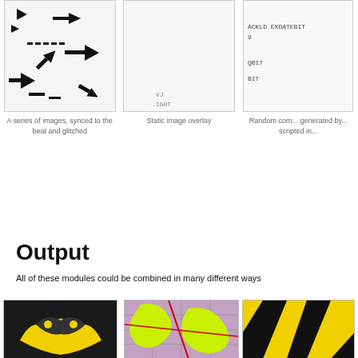[Figure (photo): Image showing scattered black arrows and dashes on white background, glitch-style]
A series of images, synced to the beat and glitched
[Figure (photo): Static image overlay - mostly light gray/white]
Static image overlay
[Figure (screenshot): Random computer-generated text: ACKLD EXDATEBIT 9, QBIT, BIT in monospace font on light background]
Random com... generated by... scripted in...
Output
All of these modules could be combined in many different ways
[Figure (photo): Colorful abstract image with yellow and dark pattern, looks like a face or mask]
[Figure (photo): Abstract image with yellow-green shapes on purple/pink grid background]
[Figure (photo): Abstract yellow and black diagonal stripes pattern]